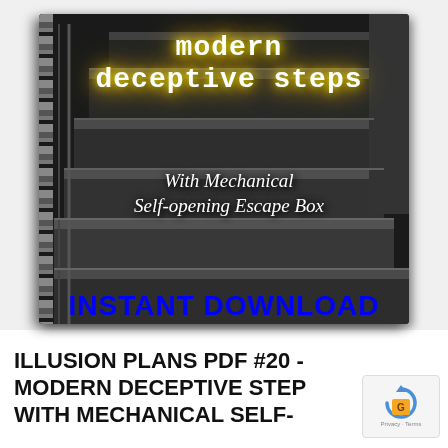[Figure (illustration): Book cover for 'Modern Deceptive Steps With Mechanical Self-opening Escape Box' showing a staircase photo with glowing yellow title text and italic white subtitle text. Below the book cover is a blue 'INSTANT DOWNLOAD' label. The book has a spiral binding on the left side.]
ILLUSION PLANS PDF #20 - MODERN DECEPTIVE STEPS WITH MECHANICAL SELF-